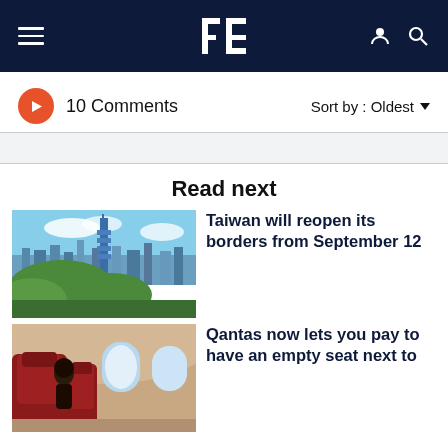Navigation bar with hamburger menu, logo Bt, user and search icons
10 Comments
Sort by : Oldest
Read next
[Figure (photo): Aerial view of Taipei city skyline with Taipei 101 tower and green hills]
Taiwan will reopen its borders from September 12
[Figure (photo): Interior of airplane cabin showing leather seats and oval windows, passenger visible]
Qantas now lets you pay to have an empty seat next to